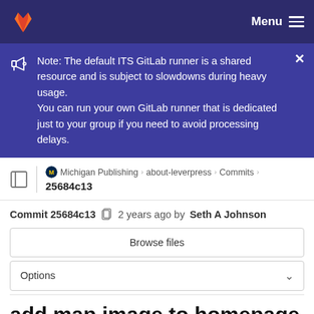GitLab — Menu
Note: The default ITS GitLab runner is a shared resource and is subject to slowdowns during heavy usage. You can run your own GitLab runner that is dedicated just to your group if you need to avoid processing delays.
Michigan Publishing › about-leverpress › Commits › 25684c13
Commit 25684c13  2 years ago by Seth A Johnson
Browse files
Options
add map image to homepage